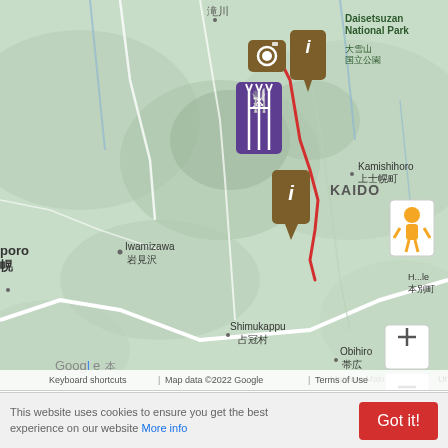[Figure (map): Google Maps view of Hokkaido, Japan showing route through Daisetsuzan National Park, Kamishihoro, Obihiro, Shimukappu, Chitose, Iwamizawa areas with navigation pins and icons. Red route line visible. Map data ©2022 Google.]
[Figure (area-chart): Elevation area chart showing route elevation from 0 to ~120km. Starts around 350m, peaks around 1050m near 65km, descends to ~250m. Y-axis: 200, 400, 600, 800, 1k, 1.2k. X-axis labels: 50, 100. Bottom label: drag to zoom in.]
This website uses cookies to ensure you get the best experience on our website More info
Got it!